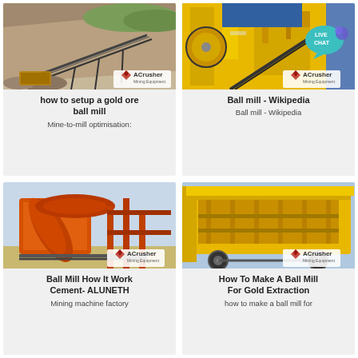[Figure (photo): Mining conveyor belt machinery on rocky hillside with ACrusher branding]
how to setup a gold ore ball mill
Mine-to-mill optimisation:
[Figure (photo): Yellow industrial jaw crusher machine with LIVE CHAT bubble and ACrusher branding]
Ball mill - Wikipedia
Ball mill - Wikipedia
[Figure (photo): Orange industrial mining crusher machine with ACrusher branding]
Ball Mill How It Work Cement- ALUNETH
Mining machine factory
[Figure (photo): Yellow mobile jaw crusher on wheels with ACrusher branding]
How To Make A Ball Mill For Gold Extraction
how to make a ball mill for